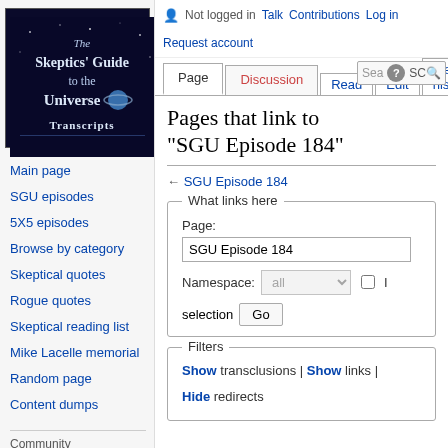[Figure (logo): The Skeptics' Guide to the Universe Transcripts logo — dark blue background with stylized text]
Main page
SGU episodes
5X5 episodes
Browse by category
Skeptical quotes
Rogue quotes
Skeptical reading list
Mike Lacelle memorial
Random page
Content dumps
Community
Community portal
Recent changes
Not logged in  Talk  Contributions  Log in  Request account
Pages that link to "SGU Episode 184"
← SGU Episode 184
What links here — Page: SGU Episode 184  Namespace: all  [checkbox] Invert selection  Go
Filters — Show transclusions | Show links | Hide redirects